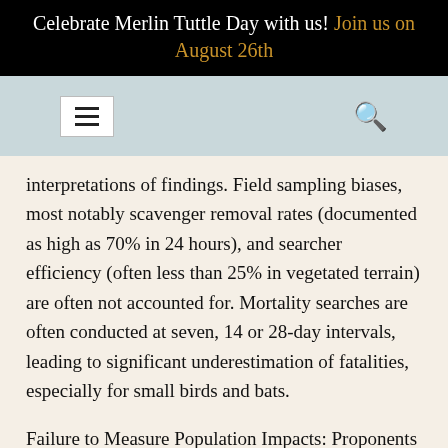Celebrate Merlin Tuttle Day with us! Join us on August 26th
interpretations of findings. Field sampling biases, most notably scavenger removal rates (documented as high as 70% in 24 hours), and searcher efficiency (often less than 25% in vegetated terrain) are often not accounted for. Mortality searches are often conducted at seven, 14 or 28-day intervals, leading to significant underestimation of fatalities, especially for small birds and bats.
Failure to Measure Population Impacts: Proponents of wind energy development often state that